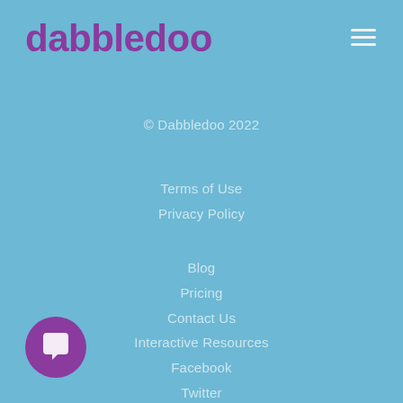dabbledoo
© Dabbledoo 2022
Terms of Use
Privacy Policy
Blog
Pricing
Contact Us
Interactive Resources
Facebook
Twitter
Instagram
Parents
[Figure (illustration): Purple circular chat/message bubble icon button in bottom left corner]